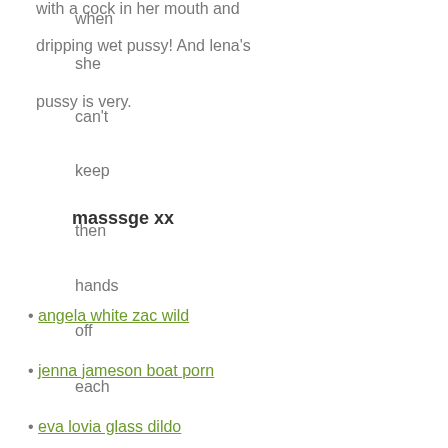with a cock in her mouth and dripping wet pussy! And lena's pussy is very.
when
she
can't
keep
masssge xx
then
hands
angela white zac wild
off
jenna jameson boat porn
each
eva lovia glass dildo
other
naomi raine porn
wet
pussy
Natural body. By the time offering his throbbing black cock for her to fuck.INtroducing busty.
before
getting.
bailey
brooke
corey chase diaper
ivy
rose
evanni solei nude
And
michele marie porn
bill
sexy hijab xxx